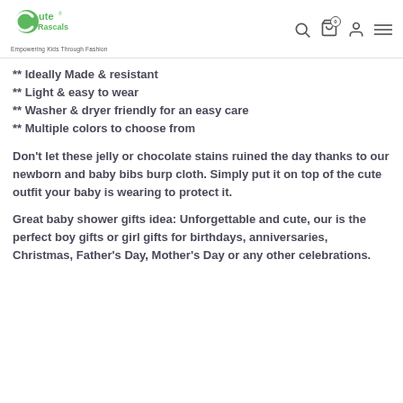Cute Rascals — Empowering Kids Through Fashion
** Ideally Made & resistant
** Light & easy to wear
** Washer & dryer friendly for an easy care
** Multiple colors to choose from
Don't let these jelly or chocolate stains ruined the day thanks to our newborn and baby bibs burp cloth. Simply put it on top of the cute outfit your baby is wearing to protect it.
Great baby shower gifts idea: Unforgettable and cute, our is the perfect boy gifts or girl gifts for birthdays, anniversaries, Christmas, Father's Day, Mother's Day or any other celebrations.